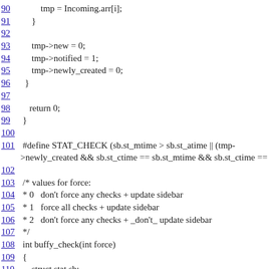90   tmp = Incoming.arr[i];
91       }
92
93       tmp->new = 0;
94       tmp->notified = 1;
95       tmp->newly_created = 0;
96   }
97
98   return 0;
99 }
100
101 #define STAT_CHECK (sb.st_mtime > sb.st_atime || (tmp->newly_created && sb.st_ctime == sb.st_mtime && sb.st_ctime ==
102
103 /* values for force:
104 * 0   don't force any checks + update sidebar
105 * 1   force all checks + update sidebar
106 * 2   don't force any checks + _don't_ update sidebar
107 */
108 int buffy_check(int force)
109 {
110     struct stat sb;
111     struct dirent *de;
112     DIR *dirp;
113     char path[_POSIX_PATH_MAX];